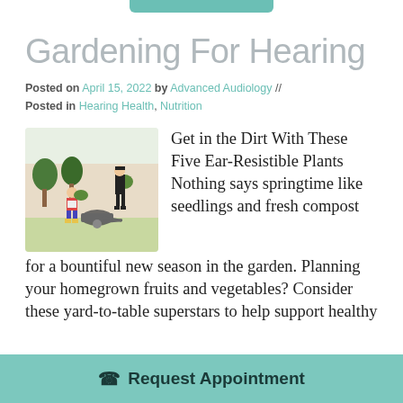Gardening For Hearing
Posted on April 15, 2022 by Advanced Audiology // Posted in Hearing Health, Nutrition
[Figure (illustration): Illustration of two people gardening outdoors with trees and plants in the background]
Get in the Dirt With These Five Ear-Resistible Plants Nothing says springtime like seedlings and fresh compost for a bountiful new season in the garden. Planning your homegrown fruits and vegetables? Consider these yard-to-table superstars to help support healthy
Request Appointment